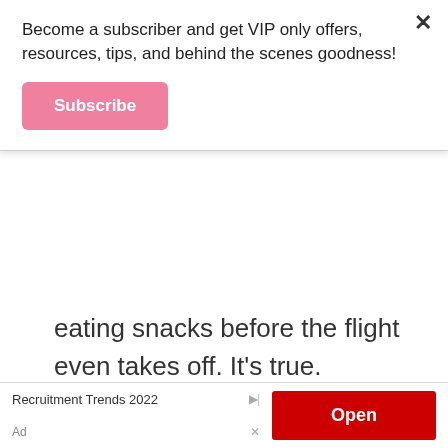Become a subscriber and get VIP only offers, resources, tips, and behind the scenes goodness!
Subscribe
eating snacks before the flight even takes off. It’s true.
Snack cup with lid. It helps keep the snacks contained and your risk of having snacks all over the place is slightly smaller. You can get 2 for $5 on Amazon and it’s totally worth it.
Books. Pack a book or two in your bag. I
Recruitment Trends 2022  Ad  Open